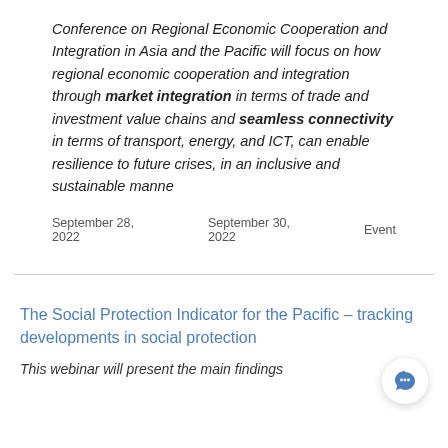Conference on Regional Economic Cooperation and Integration in Asia and the Pacific will focus on how regional economic cooperation and integration through market integration in terms of trade and investment value chains and seamless connectivity in terms of transport, energy, and ICT, can enable resilience to future crises, in an inclusive and sustainable manne
September 28, 2022    September 30, 2022    Event
The Social Protection Indicator for the Pacific – tracking developments in social protection
This webinar will present the main findings